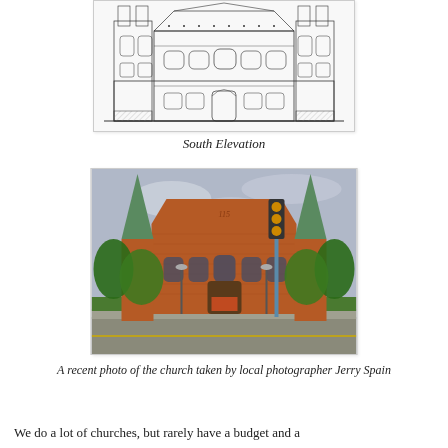[Figure (engineering-diagram): Architectural south elevation drawing of a large church building showing facade with towers, arched windows, entrance doors, and detailed ornamentation in line-drawing style]
South Elevation
[Figure (photo): A recent photo of a brick church building with two green spire towers, arched windows, red brick facade, green landscaping, street with traffic light in foreground]
A recent photo of the church taken by local photographer Jerry Spain
We do a lot of churches, but rarely have a budget and a